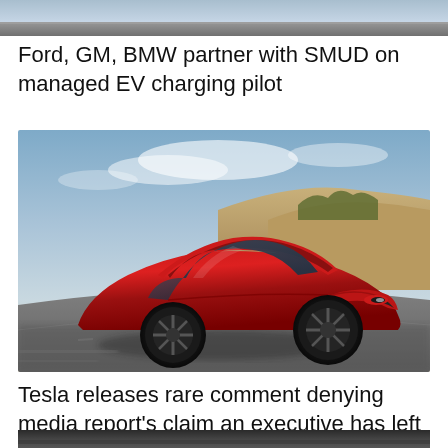[Figure (photo): Partial view of a car or vehicle image at the very top of the page, cropped]
Ford, GM, BMW partner with SMUD on managed EV charging pilot
[Figure (photo): Red Tesla Roadster sports car driving on a road with sandy hills and blue sky in the background]
Tesla releases rare comment denying media report's claim an executive has left
[Figure (photo): Partial view of another vehicle image at the bottom of the page, cropped]